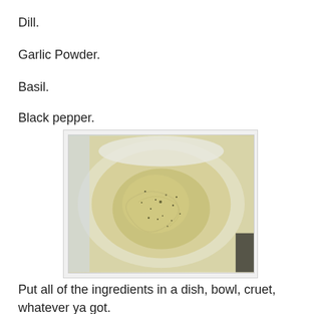Dill.
Garlic Powder.
Basil.
Black pepper.
[Figure (photo): Top-down view of a blended creamy pale-yellow mixture with speckles of black pepper and herbs in a white container or bowl]
Put all of the ingredients in a dish, bowl, cruet, whatever ya got.